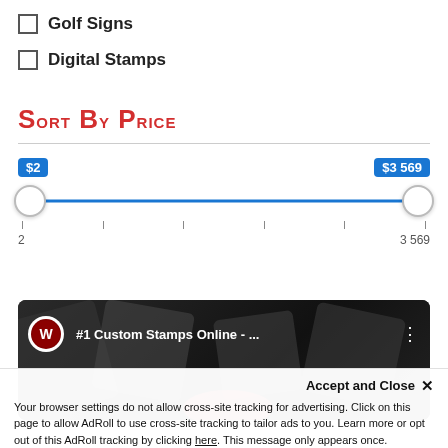Golf Signs
Digital Stamps
Sort By Price
[Figure (other): Price range slider from $2 to $3,569 with two circular handles on a blue track, badge labels above handles showing '$2' and '$3 569', tick marks and numbers '2' and '3 569' below]
[Figure (screenshot): Video thumbnail for '#1 Custom Stamps Online - ...' with Winmark logo circle on left, title text in white on dark background, stamps imagery in background, red element at bottom center, three-dot menu icon on right]
Accept and Close ×
Your browser settings do not allow cross-site tracking for advertising. Click on this page to allow AdRoll to use cross-site tracking to tailor ads to you. Learn more or opt out of this AdRoll tracking by clicking here. This message only appears once.